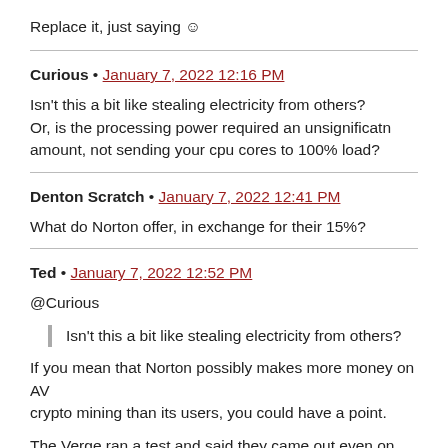Replace it, just saying ☺
Curious • January 7, 2022 12:16 PM
Isn't this a bit like stealing electricity from others? Or, is the processing power required an unsignificatn amount, not sending your cpu cores to 100% load?
Denton Scratch • January 7, 2022 12:41 PM
What do Norton offer, in exchange for their 15%?
Ted • January 7, 2022 12:52 PM
@Curious
[blockquote: Isn't this a bit like stealing electricity from others?]
If you mean that Norton possibly makes more money on AV crypto mining than its users, you could have a point.
The Verge ran a test and said they came out even on the